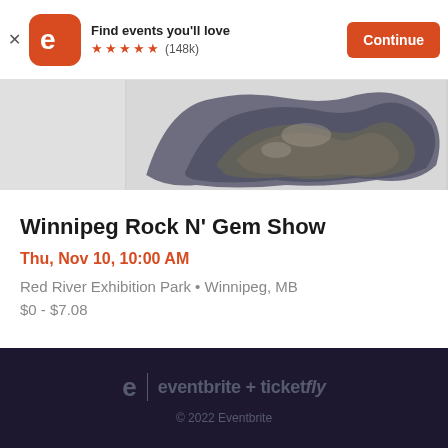[Figure (screenshot): Eventbrite app install banner with orange rounded-square logo, 'Find events you'll love' text, 5 orange stars, (148k) rating, and orange Continue button]
[Figure (photo): Partial photo of a rock or mineral specimen on white background, taking up right portion of a grey hero image area]
Winnipeg Rock N' Gem Show
Thu, Nov 10, 10:00 AM
Red River Exhibition Park • Winnipeg, MB
$0 - $7.08
eventbrite + ticketfly
© 2022 Eventbrite